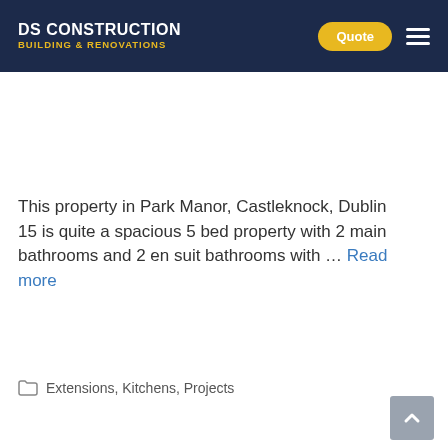DS CONSTRUCTION BUILDING & RENOVATIONS | Quote
This property in Park Manor, Castleknock, Dublin 15 is quite a spacious 5 bed property with 2 main bathrooms and 2 en suit bathrooms with … Read more
Extensions, Kitchens, Projects